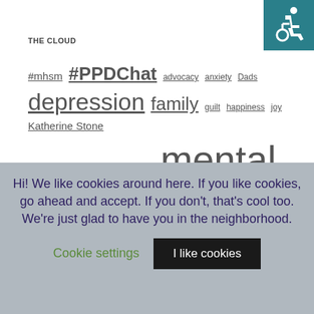THE CLOUD
[Figure (infographic): Accessibility wheelchair icon in teal square, top right corner]
#mhsm #PPDChat advocacy anxiety Dads depression family guilt happiness joy Katherine Stone laughter life love medication mental health mom moms mother motherhood My 500 Words parenting peer support Perinatal Mood & Anxiety Disorders Perinatal Mood Disorders postpartum depression Postpartum Mood Disorder Postpartum Mood Disorders Postpartum Progress PPD prayer pregnancy recovery research self-care social media stigma suicide support survivor twitter Twitter Chat Valentine's Day Whatever Wednesday writing
Hi! We like cookies around here. If you like cookies, go ahead and accept. If you don't, that's cool too. We're just glad to have you in the neighborhood.
Cookie settings
I like cookies